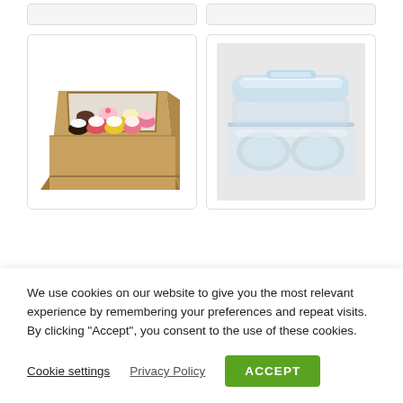[Figure (photo): Partial top of two product cards, cropped at top of page]
[Figure (photo): Product card showing a kraft cardboard box with a clear window lid containing 12 cupcakes with various toppings and frostings]
[Figure (photo): Product card showing a clear plastic clamshell container for baked goods, open with two round compartments visible]
We use cookies on our website to give you the most relevant experience by remembering your preferences and repeat visits. By clicking “Accept”, you consent to the use of these cookies.
Cookie settings   Privacy Policy   ACCEPT